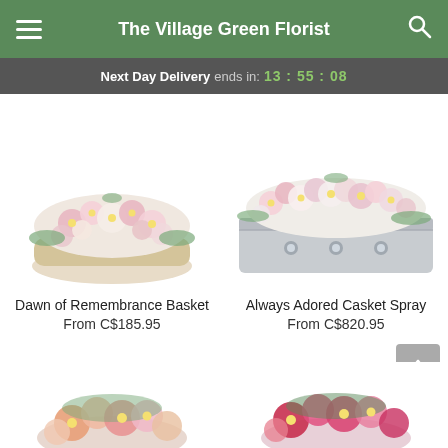The Village Green Florist
Next Day Delivery ends in: 13 : 55 : 08
[Figure (photo): Dawn of Remembrance Basket - floral arrangement with pink and white roses in a white basket]
Dawn of Remembrance Basket
From C$185.95
[Figure (photo): Always Adored Casket Spray - pink and white floral spray arranged on a silver casket]
Always Adored Casket Spray
From C$820.95
[Figure (photo): Partial view of a colorful pink and orange floral arrangement at bottom left]
[Figure (photo): Partial view of a red and pink floral arrangement at bottom right]